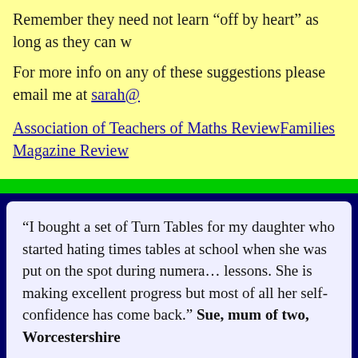Remember they need not learn “off by heart” as long as they can w…
For more info on any of these suggestions please email me at sarah@…
Association of Teachers of Maths ReviewFamilies Magazine Review
“I bought a set of Turn Tables for my daughter who started hating times tables at school when she was put on the spot during numera… lessons. She is making excellent progress but most of all her self-confidence has come back.” Sue, mum of two, Worcestershire
HOME | ABOUT US | INFO ABOUT THE GAMES | TEAC…
Call the home of Tur…
© Copyrights | All…
Website Des…